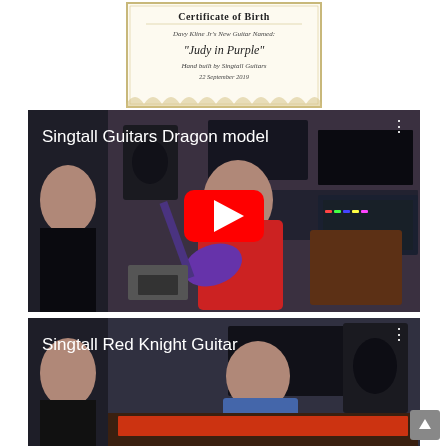[Figure (illustration): Certificate of Birth for Davy Kline Jr's New Guitar Named: 'Judy in Purple', Hand built by Singtall Guitars, 22 September 2019. Decorative certificate with scalloped border at bottom.]
[Figure (screenshot): YouTube video thumbnail for 'Singtall Guitars Dragon model' showing a man in a red shirt holding a purple electric guitar in a recording studio setting. Red YouTube play button in center.]
[Figure (screenshot): YouTube video thumbnail for 'Singtall Red Knight Guitar' showing a man in a blue shirt in a recording studio setting. Partially visible at bottom of page.]